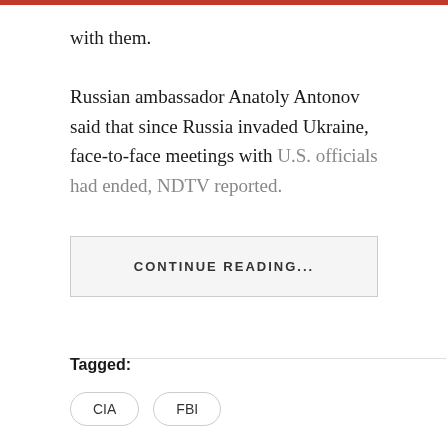with them.
Russian ambassador Anatoly Antonov said that since Russia invaded Ukraine, face-to-face meetings with U.S. officials had ended, NDTV reported.
CONTINUE READING...
Tagged:
CIA
FBI